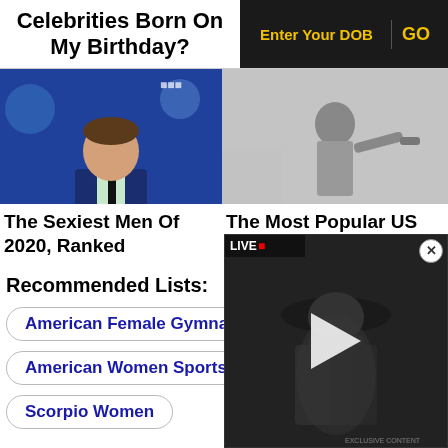Celebrities Born On My Birthday?
Enter Your DOB   GO
[Figure (photo): Photo of a man in a blue suit at what appears to be a Marvel event]
[Figure (photo): Black and white photo of a person, possibly a veteran]
The Sexiest Men Of 2020, Ranked
The Most Popular US Veterans
Recommended Lists:
American Female Gymnasts
American Women Sportspersons
Scorpio Women
Car Accident
[Figure (photo): Black and white video thumbnail of a person wearing a wide-brim hat, with play button overlay. Logo shows 'LIVE' in red.]